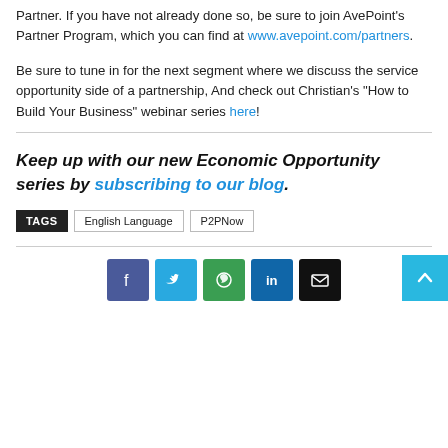Partner. If you have not already done so, be sure to join AvePoint's Partner Program, which you can find at www.avepoint.com/partners.
Be sure to tune in for the next segment where we discuss the service opportunity side of a partnership, And check out Christian's “How to Build Your Business” webinar series here!
Keep up with our new Economic Opportunity series by subscribing to our blog.
TAGS  English Language  P2PNow
[Figure (other): Social share buttons: Facebook, Twitter, WhatsApp, LinkedIn, Email, and scroll-to-top button]